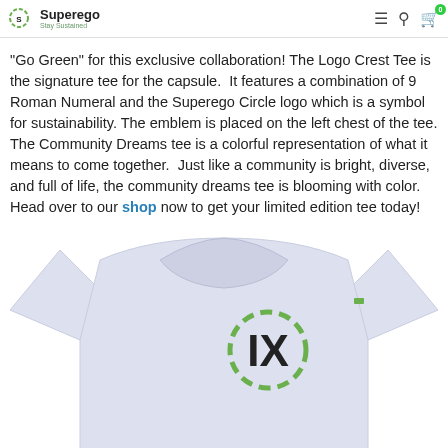Superego — Stay Sustained
collaboration capsule are made on our 60% Hemp & 40% Organic Cotton tees. It was exciting to see the triangles "Go Green" for this exclusive collaboration! The Logo Crest Tee is the signature tee for the capsule. It features a combination of 9 Roman Numeral and the Superego Circle logo which is a symbol for sustainability. The emblem is placed on the left chest of the tee. The Community Dreams tee is a colorful representation of what it means to come together. Just like a community is bright, diverse, and full of life, the community dreams tee is blooming with color. Head over to our shop now to get your limited edition tee today!
[Figure (photo): White t-shirt with Superego IX logo crest on the left chest — a dashed green circle surrounding bold black Roman numeral IX]